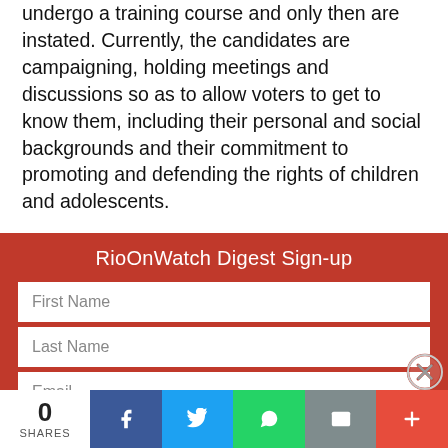undergo a training course and only then are instated. Currently, the candidates are campaigning, holding meetings and discussions so as to allow voters to get to know them, including their personal and social backgrounds and their commitment to promoting and defending the rights of children and adolescents.
RioOnWatch Digest Sign-up
First Name
Last Name
Email
Organization
Country
0 SHARES